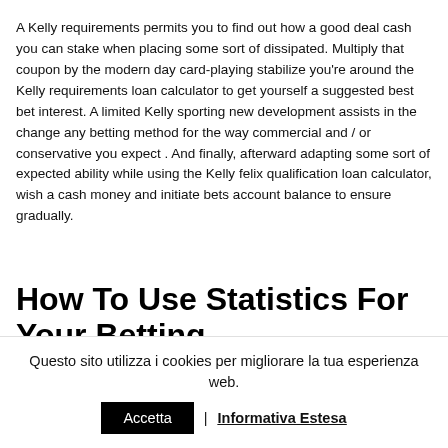A Kelly requirements permits you to find out how a good deal cash you can stake when placing some sort of dissipated. Multiply that coupon by the modern day card-playing stabilize you're around the Kelly requirements loan calculator to get yourself a suggested best bet interest. A limited Kelly sporting new development assists in the change any betting method for the way commercial and / or conservative you expect . And finally, afterward adapting some sort of expected ability while using the Kelly felix qualification loan calculator, wish a cash money and initiate bets account balance to ensure gradually.
How To Use Statistics For Your Betting
Questo sito utilizza i cookies per migliorare la tua esperienza web. Accetta | Informativa Estesa